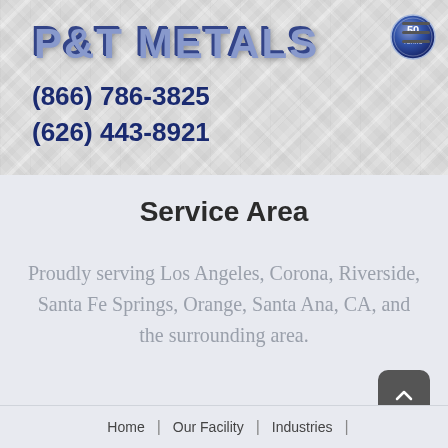[Figure (logo): P&T Metals logo with stylized blue metallic text and a circular 50-year badge, on a diamond-plate metal background]
(866) 786-3825
(626) 443-8921
Service Area
Proudly serving Los Angeles, Corona, Riverside, Santa Fe Springs, Orange, Santa Ana, CA, and the surrounding area.
Home | Our Facility | Industries